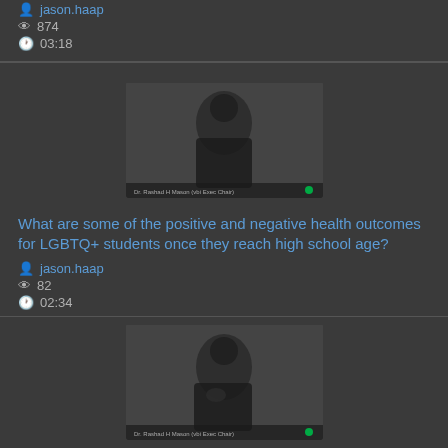jason.haap
874
03:18
[Figure (screenshot): Video thumbnail showing a person sitting, dark background, with caption text at bottom]
What are some of the positive and negative health outcomes for LGBTQ+ students once they reach high school age?
jason.haap
82
02:34
[Figure (screenshot): Video thumbnail showing a person sitting with hand on chest, dark background, with caption text at bottom]
What are some of the challenges of LGBTQ+ students in the